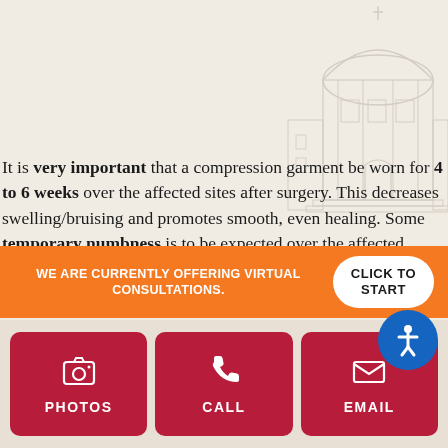[Figure (illustration): Faded architectural illustration of a classical building/cathedral in the upper-right background]
It is very important that a compression garment be worn for 4 to 6 weeks over the affected sites after surgery. This decreases swelling/bruising and promotes smooth, even healing. Some temporary numbness is to be expected over the affected. Results are recognizable almost immediately, and will continue to improve as the swelling subsides.
Depending on the number and location of the treated areas, one
WE ARE CURRENTLY OFFERING VIRTUAL CONSULTATIONS.
CLICK TO START
PHOTOS
CALL
EMAIL